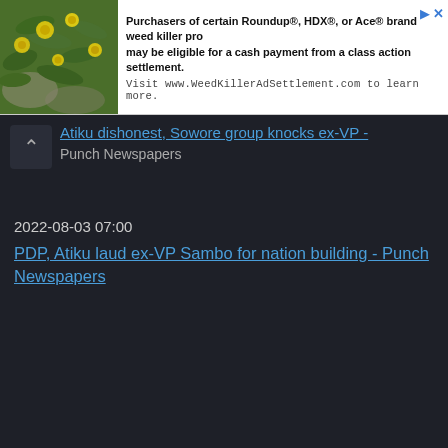[Figure (photo): Advertisement banner with a photo of yellow flowers on green foliage on the left side, and ad text on the right side. Text reads: 'Purchasers of certain Roundup®, HDX®, or Ace® brand weed killer pro... may be eligible for a cash payment from a class action settlement. Visit www.WeedKillerAdSettlement.com to learn more.']
Atiku dishonest, Sowore group knocks ex-VP - Punch Newspapers
2022-08-03 07:00
PDP, Atiku laud ex-VP Sambo for nation building - Punch Newspapers